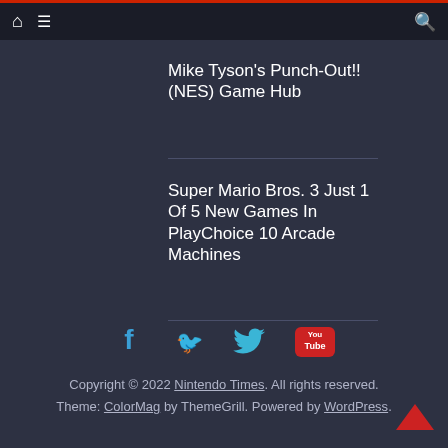Navigation bar with home icon, menu icon, and search icon
Mike Tyson's Punch-Out!! (NES) Game Hub
Super Mario Bros. 3 Just 1 Of 5 New Games In PlayChoice 10 Arcade Machines
[Figure (infographic): Social media icons: Facebook, Twitter, YouTube]
Copyright © 2022 Nintendo Times. All rights reserved. Theme: ColorMag by ThemeGrill. Powered by WordPress.